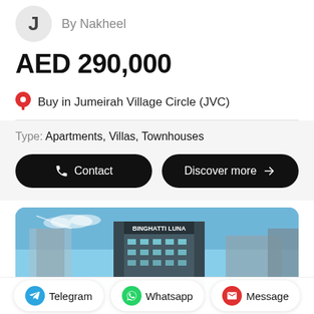J — By Nakheel
AED 290,000
Buy in Jumeirah Village Circle (JVC)
Type: Apartments, Villas, Townhouses
Contact | Discover more
[Figure (photo): Building exterior photo showing Binghatti Luna tower against blue sky]
Telegram   Whatsapp   Message